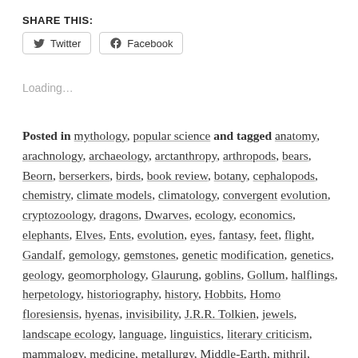SHARE THIS:
[Figure (screenshot): Twitter and Facebook share buttons]
Loading…
Posted in mythology, popular science and tagged anatomy, arachnology, archaeology, arctanthropy, arthropods, bears, Beorn, berserkers, birds, book review, botany, cephalopods, chemistry, climate models, climatology, convergent evolution, cryptozoology, dragons, Dwarves, ecology, economics, elephants, Elves, Ents, evolution, eyes, fantasy, feet, flight, Gandalf, gemology, gemstones, genetic modification, genetics, geology, geomorphology, Glaurung, goblins, Gollum, halflings, herpetology, historiography, history, Hobbits, Homo floresiensis, hyenas, invisibility, J.R.R. Tolkien, jewels, landscape ecology, language, linguistics, literary criticism, mammalogy, medicine, metallurgy, Middle-Earth, mithril, money, mythology, Númenor, oliphaunts, Olog-hai, Orcs, ornithology,